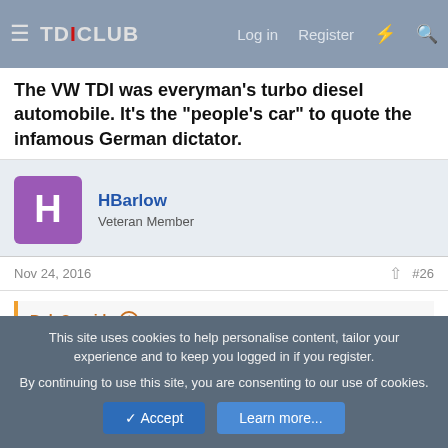TDICLUB — Log in | Register
The VW TDI was everyman's turbo diesel automobile. It's the "people's car" to quote the infamous German dictator.
HBarlow — Veteran Member
Nov 24, 2016   #26
Bob S. said: ↑  Perhaps it will result in one of the Japanese manufactures to import or build their diesels in the USA. But, given what the US government did to VW, I doubt it.
Yes, no question about it. But VW's TDIs got in the way of our
This site uses cookies to help personalise content, tailor your experience and to keep you logged in if you register.
By continuing to use this site, you are consenting to our use of cookies.